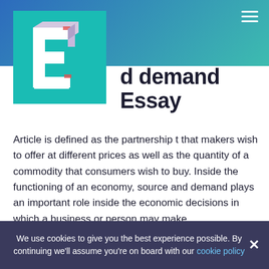d demand Essay
[Figure (logo): 3D letter E logo on teal background square]
d demand Essay
Article is defined as the partnership t that makers wish to offer at different prices as well as the quantity of a commodity that consumers wish to buy. Inside the functioning of an economy, source and demand plays an important role inside the economic decisions in which a business or person may make.
The amount of a item demanded depends upon what price in the commodity, the values of all additional commodities, the incomes from the consumers and also the consumers preference. The quantity of a
We use cookies to give you the best experience possible. By continuing we'll assume you're on board with our cookie policy